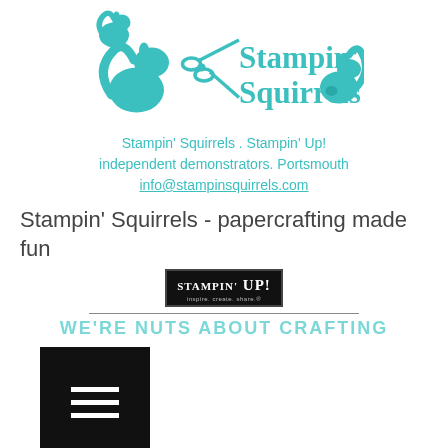[Figure (logo): Stampin' Squirrels logo — teal squirrel and scissors illustrations with the text 'Stampin' Squirrels' in a teal serif font]
Stampin' Squirrels . Stampin' Up! independent demonstrators. Portsmouth info@stampinsquirrels.com
Stampin' Squirrels - papercrafting made fun
[Figure (logo): Stampin' Up! badge logo in black with white text reading 'STAMPIN' UP!' and tagline 'inspire. create. share.']
WE'RE NUTS ABOUT CRAFTING
[Figure (screenshot): Black square button with three white horizontal lines (hamburger/menu icon)]